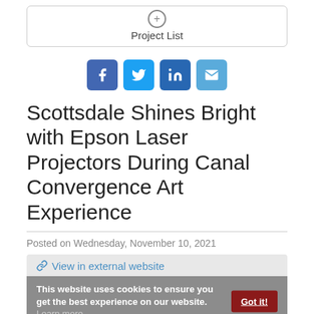[Figure (screenshot): Project List UI element with a plus icon and label]
[Figure (infographic): Social media sharing icons: Facebook, Twitter, LinkedIn, Email]
Scottsdale Shines Bright with Epson Laser Projectors During Canal Convergence Art Experience
Posted on Wednesday, November 10, 2021
View in external website
This website uses cookies to ensure you get the best experience on our website. Learn more
[Figure (photo): Dark nighttime photo with blue laser light projections]